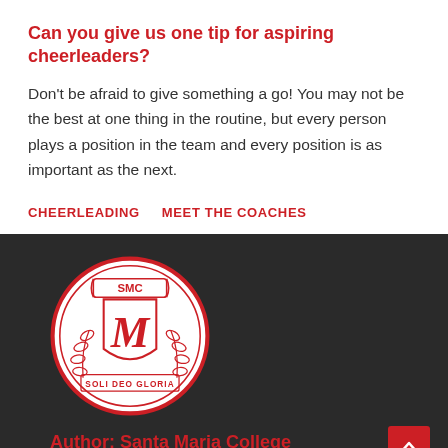Can you give us one tip for aspiring cheerleaders?
Don't be afraid to give something a go! You may not be the best at one thing in the routine, but every person plays a position in the team and every position is as important as the next.
CHEERLEADING
MEET THE COACHES
[Figure (logo): Santa Maria College circular crest logo with SMC letters, stylized M, laurel wreaths, and text 'SOLI DEO GLORIA' on a dark background]
Author: Santa Maria College
Santa Maria College is a vibrant girls school with a